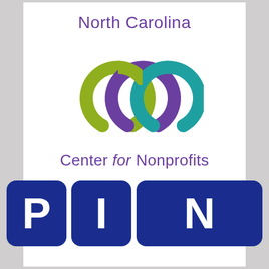North Carolina
[Figure (logo): Three interlocking horseshoe/ring shapes in olive green, purple, and teal, overlapping each other, forming the NC Center for Nonprofits logo mark]
Center for Nonprofits
[Figure (logo): Three blue rounded-rectangle boxes containing the letters P, I, N in large white bold font — the PIN acronym logo for the Philanthropy In/for Nonprofits program]